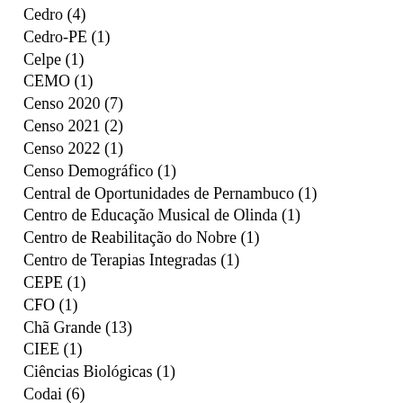Cedro (4)
Cedro-PE (1)
Celpe (1)
CEMO (1)
Censo 2020 (7)
Censo 2021 (2)
Censo 2022 (1)
Censo Demográfico (1)
Central de Oportunidades de Pernambuco (1)
Centro de Educação Musical de Olinda (1)
Centro de Reabilitação do Nobre (1)
Centro de Terapias Integradas (1)
CEPE (1)
CFO (1)
Chã Grande (13)
CIEE (1)
Ciências Biológicas (1)
Codai (6)
Codai/UFRPE (1)
Codevasf (1)
Coité do Nóia (1)
Colégio Agrícola Dom Agostinho (1)
Colégio Agrícola Dom Agostinho Ikas (2)